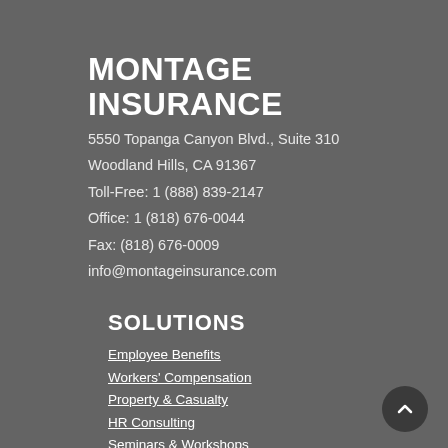MONTAGE INSURANCE
5550 Topanga Canyon Blvd., Suite 310
Woodland Hills, CA 91367
Toll-Free: 1 (888) 839-2147
Office: 1 (818) 676-0044
Fax: (818) 676-0009
info@montageinsurance.com
SOLUTIONS
Employee Benefits
Workers' Compensation
Property & Casualty
HR Consulting
Seminars & Workshops
TPA Services: COBRA & ERISA